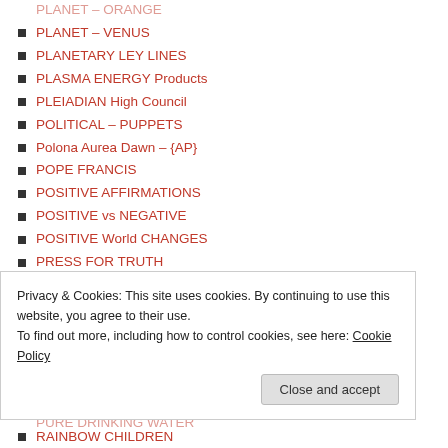PLANET – VENUS
PLANETARY LEY LINES
PLASMA ENERGY Products
PLEIADIAN High Council
POLITICAL – PUPPETS
Polona Aurea Dawn – {AP}
POPE FRANCIS
POSITIVE AFFIRMATIONS
POSITIVE vs NEGATIVE
POSITIVE World CHANGES
PRESS FOR TRUTH
PRINCE [PEDO] ANDREW
PRINCE [SCUM] PHILLIP
PROBLEMS/SOLUTIONS
PROJECT BLUEBEAM
PSYCHIATRY – FRAUDS
PSYCHIC – PROPHECIES
PURE DRINKING WATER (partial)
Privacy & Cookies: This site uses cookies. By continuing to use this website, you agree to their use. To find out more, including how to control cookies, see here: Cookie Policy
RAINBOW CHILDREN